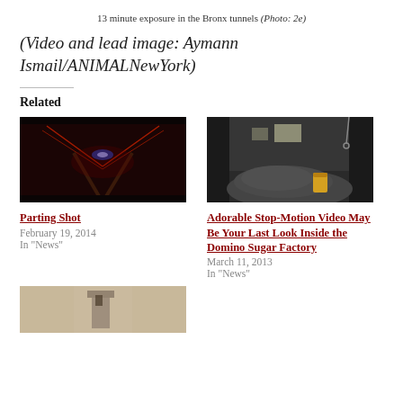13 minute exposure in the Bronx tunnels (Photo: 2e)
(Video and lead image: Aymann Ismail/ANIMALNewYork)
Related
[Figure (photo): Dark tunnel with red and blue light streaks on railroad tracks]
Parting Shot
February 19, 2014
In "News"
[Figure (photo): Interior of abandoned industrial building with pile of dark material and yellow container]
Adorable Stop-Motion Video May Be Your Last Look Inside the Domino Sugar Factory
March 11, 2013
In "News"
[Figure (photo): Partial view of a third related article thumbnail]